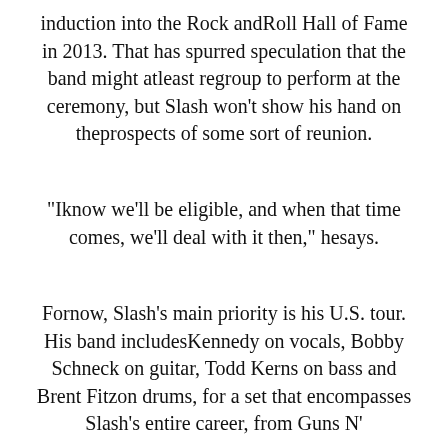induction into the Rock andRoll Hall of Fame in 2013. That has spurred speculation that the band might atleast regroup to perform at the ceremony, but Slash won't show his hand on theprospects of some sort of reunion.
“Iknow we’ll be eligible, and when that time comes, we’ll deal with it then,” hesays.
Fornow, Slash’s main priority is his U.S. tour. His band includesKennedy on vocals, Bobby Schneck on guitar, Todd Kerns on bass and Brent Fitzon drums, for a set that encompasses Slash’s entire career, from Guns N’